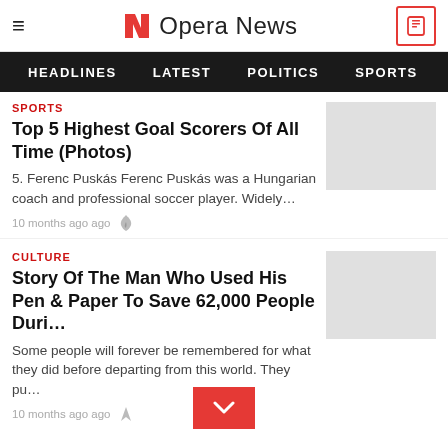Opera News
HEADLINES  LATEST  POLITICS  SPORTS  EN
SPORTS
Top 5 Highest Goal Scorers Of All Time (Photos)
5. Ferenc Puskás Ferenc Puskás was a Hungarian coach and professional soccer player. Widely…
10 months ago ago
CULTURE
Story Of The Man Who Used His Pen & Paper To Save 62,000 People Duri…
Some people will forever be remembered for what they did before departing from this world. They pu…
10 months ago ago